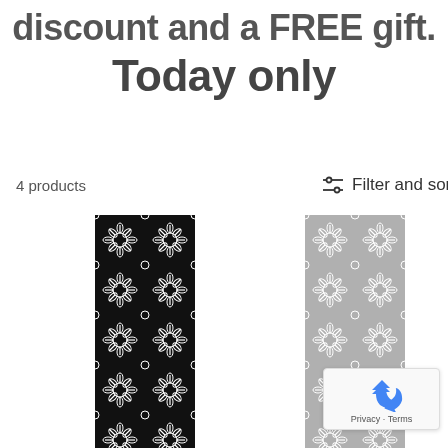discount and a FREE gift.
Today only
4 products
Filter and sort
[Figure (illustration): Black decorative laser-cut panel with floral/geometric repeating pattern]
[Figure (illustration): Grey decorative laser-cut panel with floral/geometric repeating pattern]
[Figure (other): reCAPTCHA widget showing recycling arrow icon and Privacy/Terms text]